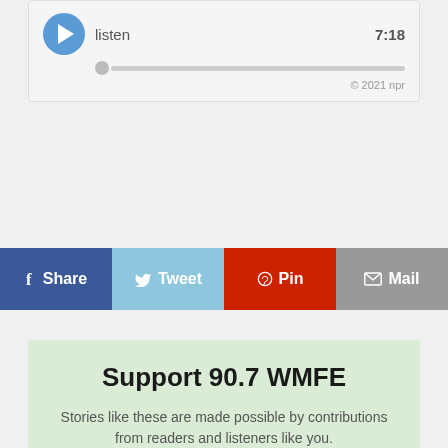[Figure (screenshot): Audio player widget with play button, 'listen' label, progress bar, duration 7:18, and copyright © 2021 npr]
[Figure (infographic): Social share buttons row: Share (Facebook, dark blue), Tweet (Twitter, light blue), Pin (Pinterest, red), Mail (grey)]
Support 90.7 WMFE
Stories like these are made possible by contributions from readers and listeners like you.